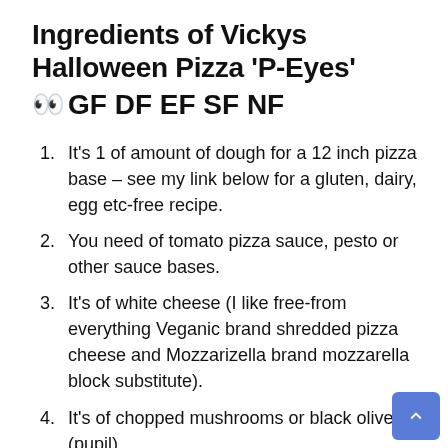Ingredients of Vickys Halloween Pizza 'P-Eyes' 👀 GF DF EF SF NF
It's 1 of amount of dough for a 12 inch pizza base – see my link below for a gluten, dairy, egg etc-free recipe.
You need of tomato pizza sauce, pesto or other sauce bases.
It's of white cheese (I like free-from everything Veganic brand shredded pizza cheese and Mozzarizella brand mozzarella block substitute).
It's of chopped mushrooms or black olives (pupil).